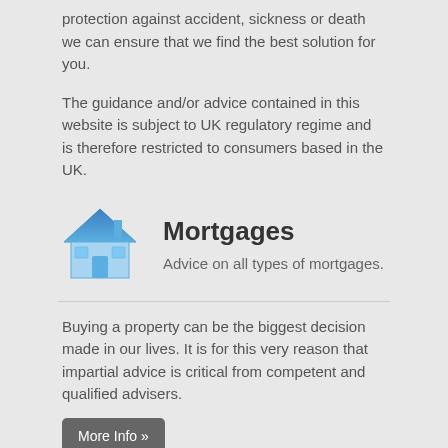protection against accident, sickness or death we can ensure that we find the best solution for you.
The guidance and/or advice contained in this website is subject to UK regulatory regime and is therefore restricted to consumers based in the UK.
[Figure (illustration): Blue house icon representing mortgages section]
Mortgages
Advice on all types of mortgages.
Buying a property can be the biggest decision made in our lives. It is for this very reason that impartial advice is critical from competent and qualified advisers.
More Info »
[Figure (illustration): Globe/earth icon representing protection section]
Protection
Talk to us about your protection needs
Quite often you hear 'it could never happen to me' or 'I'll sort it out